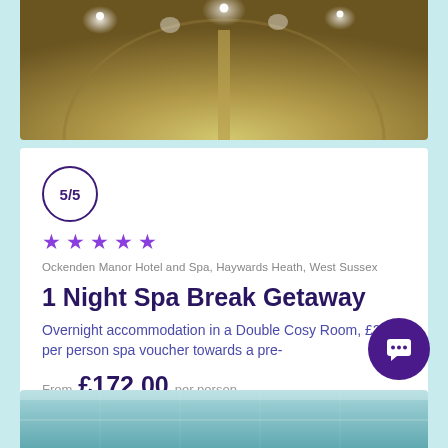[Figure (photo): Interior spa corridor with warm golden lighting and spotlights on ceiling]
5/5
★★★★★
Ockenden Manor Hotel and Spa, Haywards Heath, West Sussex
1 Night Spa Break Getaway
Overnight accommodation in a Double Cosy Room, £25 per person spa voucher towards a pre-
From £172.00 per person
View Spa Deal →
[Figure (photo): Bottom partial view of spa pool area with blue/teal water]